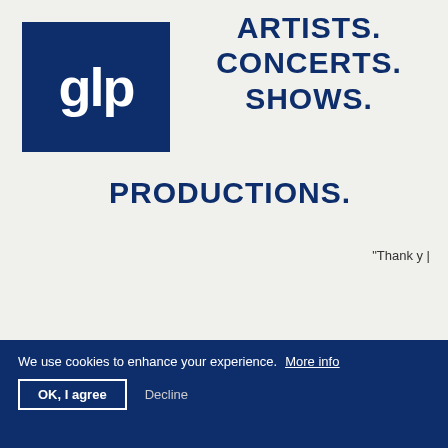[Figure (logo): GLP logo — white stylized letters 'glp' on dark navy blue square background]
ARTISTS. CONCERTS. SHOWS. PRODUCTIONS.
"Thank y |
We use cookies to enhance your experience. More info
OK, I agree   Decline